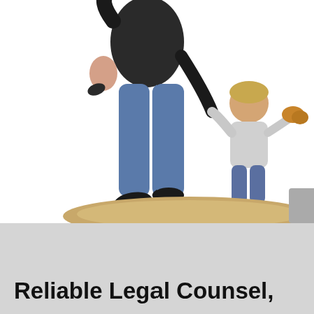[Figure (photo): Adult person standing from behind, holding hands with a small child. Both are standing on a sandy mound. The adult carries a baby on their left arm and a toddler holds their right hand. White background.]
Reliable Legal Counsel,